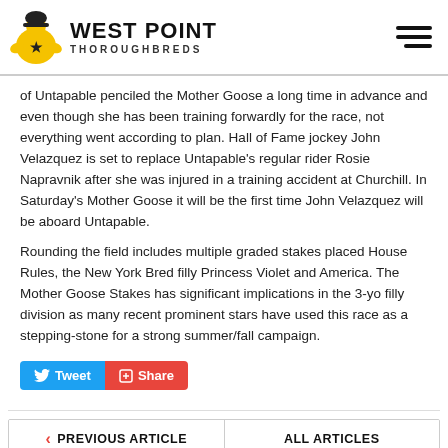WEST POINT THOROUGHBREDS
of Untapable penciled the Mother Goose a long time in advance and even though she has been training forwardly for the race, not everything went according to plan. Hall of Fame jockey John Velazquez is set to replace Untapable's regular rider Rosie Napravnik after she was injured in a training accident at Churchill. In Saturday's Mother Goose it will be the first time John Velazquez will be aboard Untapable.
Rounding the field includes multiple graded stakes placed House Rules, the New York Bred filly Princess Violet and America. The Mother Goose Stakes has significant implications in the 3-yo filly division as many recent prominent stars have used this race as a stepping-stone for a strong summer/fall campaign.
Tweet
Share